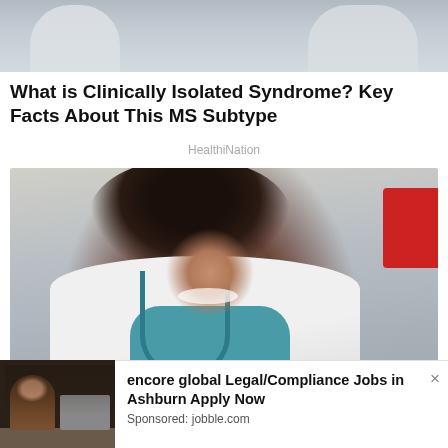[Figure (photo): Partial top photo showing people in white coats / medical setting, cropped at top]
What is Clinically Isolated Syndrome? Key Facts About This MS Subtype
HealthiNation
[Figure (photo): Smiling Black female doctor in white coat with stethoscope, blurred medical background with red element]
[Figure (photo): Advertisement thumbnail showing person at desk in office]
encore global Legal/Compliance Jobs in Ashburn Apply Now
Sponsored: jobble.com